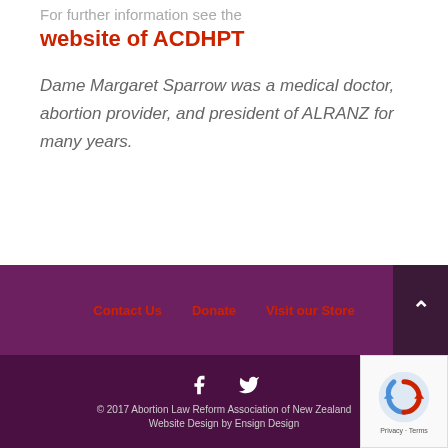For further information see the website of ACDHPT
Dame Margaret Sparrow was a medical doctor, abortion provider, and president of ALRANZ for many years.
Contact Us   Donate   Visit our Store
© 2017 Abortion Law Reform Association of New Zealand
Website Design by Ensign Design